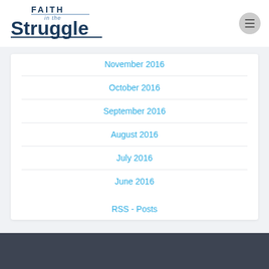[Figure (logo): Faith in the Struggle blog logo — bold dark blue text reading FAITH in the Struggle with italic 'in the' subtitle]
November 2016
October 2016
September 2016
August 2016
July 2016
June 2016
RSS - Posts